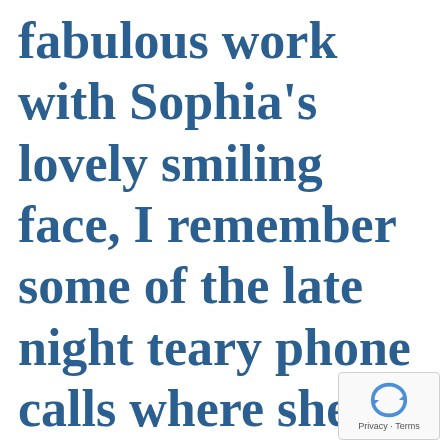fabulous work with Sophia's lovely smiling face, I remember some of the late night teary phone calls where she was broken with exhaustion and back pain. Then came
[Figure (logo): Google reCAPTCHA badge with recycling arrows icon and 'Privacy - Terms' text]